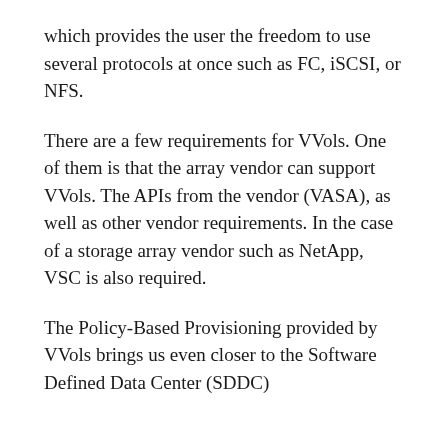which provides the user the freedom to use several protocols at once such as FC, iSCSI, or NFS.
There are a few requirements for VVols. One of them is that the array vendor can support VVols. The APIs from the vendor (VASA), as well as other vendor requirements. In the case of a storage array vendor such as NetApp, VSC is also required.
The Policy-Based Provisioning provided by VVols brings us even closer to the Software Defined Data Center (SDDC)